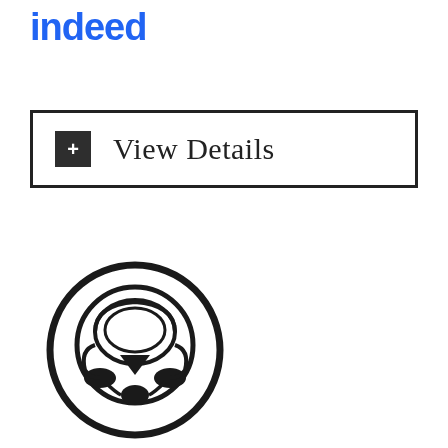[Figure (logo): Indeed logo in blue text]
+ View Details
[Figure (illustration): Black and white icon of a person wearing a full-face respirator/gas mask inside a circle]